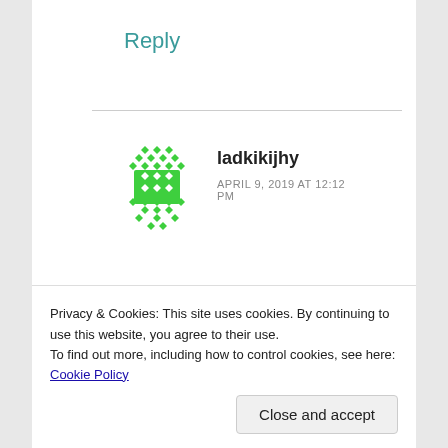Reply
ladkikijhy
APRIL 9, 2019 AT 12:12 PM
Google said 15th 😜
I better ask my amma 😄
Privacy & Cookies: This site uses cookies. By continuing to use this website, you agree to their use.
To find out more, including how to control cookies, see here: Cookie Policy
Close and accept